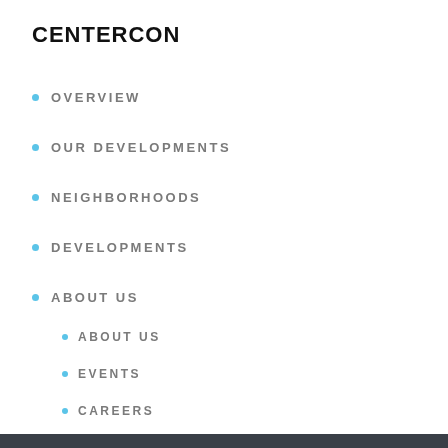CENTERCON
OVERVIEW
OUR DEVELOPMENTS
NEIGHBORHOODS
DEVELOPMENTS
ABOUT US
ABOUT US
EVENTS
CAREERS
CONTACT US